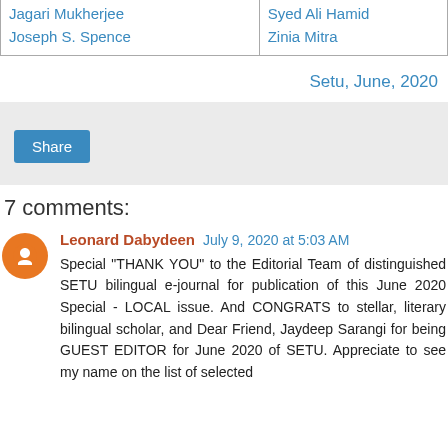| Left Column | Right Column |
| --- | --- |
| Jagari Mukherjee | Syed Ali Hamid |
| Joseph S. Spence | Zinia Mitra |
Setu, June, 2020
[Figure (other): Share button section with light grey background]
7 comments:
Leonard Dabydeen July 9, 2020 at 5:03 AM
Special "THANK YOU" to the Editorial Team of distinguished SETU bilingual e-journal for publication of this June 2020 Special - LOCAL issue. And CONGRATS to stellar, literary bilingual scholar, and Dear Friend, Jaydeep Sarangi for being GUEST EDITOR for June 2020 of SETU. Appreciate to see my name on the list of selected contributors.